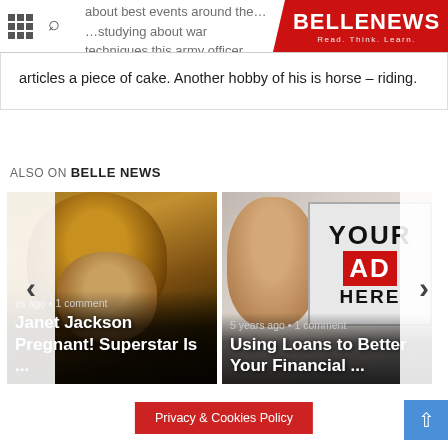BELLE NEWS — Read. Think. Learn.
...studying about war techniques, this army officer found writing articles a piece of cake. Another hobby of his is horse – riding.
ALSO ON BELLE NEWS
[Figure (photo): Photo of Janet Jackson performing, with curly hair and jewelry]
Janet Jackson Pregnant! Superstar Is ...
ys ago • 1 comment
[Figure (photo): Photo of a woman smiling next to a sign reading YOUR AD HERE]
Using Loans to Better Your Financial ...
5 years ago • 1 comment
Privacy & Cookies Policy